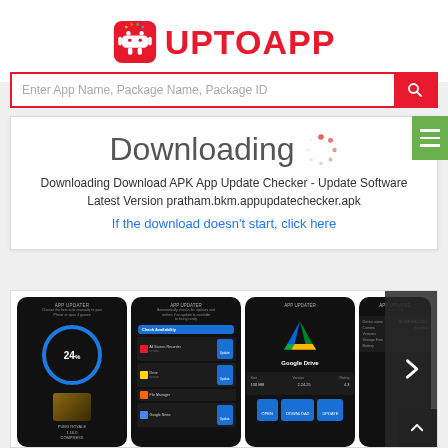[Figure (logo): UptoApp logo with Android robot icon and red UPTOAPP text]
[Figure (screenshot): Search bar with placeholder text and red search button]
Downloading
Downloading Download APK App Update Checker - Update Software Latest Version pratham.bkm.appupdatechecker.apk
If the download doesn't start, click here
[Figure (screenshot): Four app screenshots of APP UPDATER application shown in a horizontal carousel with a next arrow button]